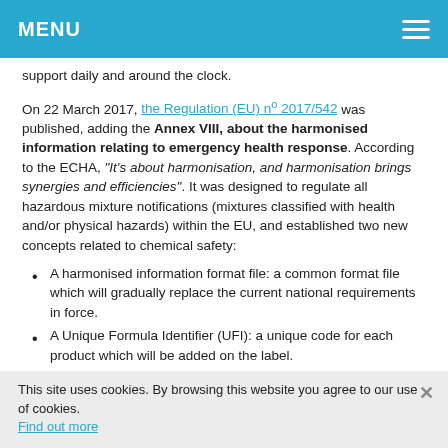MENU
support daily and around the clock.
On 22 March 2017, the Regulation (EU) nº 2017/542 was published, adding the Annex VIII, about the harmonised information relating to emergency health response. According to the ECHA, "It's about harmonisation, and harmonisation brings synergies and efficiencies". It was designed to regulate all hazardous mixture notifications (mixtures classified with health and/or physical hazards) within the EU, and established two new concepts related to chemical safety:
A harmonised information format file: a common format file which will gradually replace the current national requirements in force.
A Unique Formula Identifier (UFI): a unique code for each product which will be added on the label.
This new system, although efficient and beneficial in the long
This site uses cookies. By browsing this website you agree to our use of cookies. Find out more